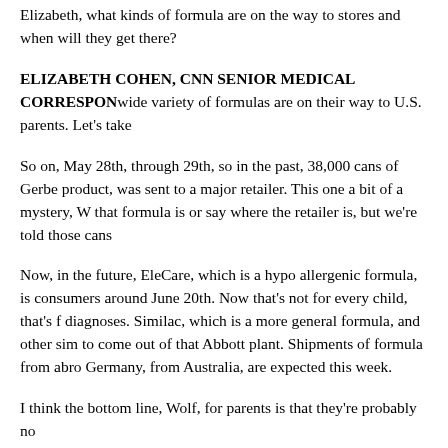Elizabeth, what kinds of formula are on the way to stores and when will they get there?
ELIZABETH COHEN, CNN SENIOR MEDICAL CORRESPONDENT: A wide variety of formulas are on their way to U.S. parents. Let's take a look.
So on, May 28th, through 29th, so in the past, 38,000 cans of Gerber product, was sent to a major retailer. This one a bit of a mystery, Wolf. We can't say what that formula is or say where the retailer is, but we're told those cans are there.
Now, in the future, EleCare, which is a hypo allergenic formula, is expected to reach consumers around June 20th. Now that's not for every child, that's for children with specific diagnoses. Similac, which is a more general formula, and other similar products are expected to come out of that Abbott plant. Shipments of formula from abroad, from the U.K., from Germany, from Australia, are expected this week.
I think the bottom line, Wolf, for parents is that they're probably not going to